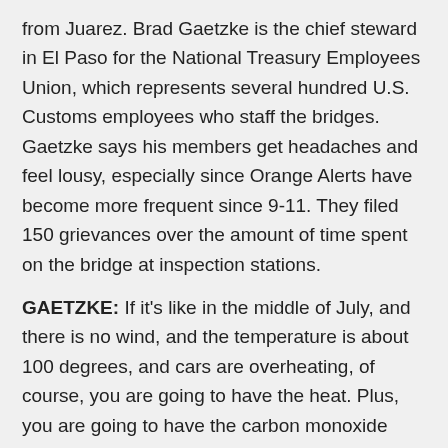from Juarez. Brad Gaetzke is the chief steward in El Paso for the National Treasury Employees Union, which represents several hundred U.S. Customs employees who staff the bridges. Gaetzke says his members get headaches and feel lousy, especially since Orange Alerts have become more frequent since 9-11. They filed 150 grievances over the amount of time spent on the bridge at inspection stations.
GAETZKE: If it's like in the middle of July, and there is no wind, and the temperature is about 100 degrees, and cars are overheating, of course, you are going to have the heat. Plus, you are going to have the carbon monoxide coming off of that. Plus, sometimes we also have impurities that blow in from Mexico when they are burning paper and things like that.